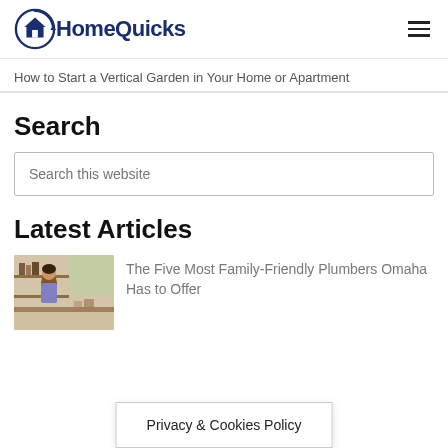HomeQuicks
How to Start a Vertical Garden in Your Home or Apartment
Search
Search this website
Latest Articles
[Figure (photo): Photo of a woman in kitchen or home interior]
The Five Most Family-Friendly Plumbers Omaha Has to Offer
Privacy & Cookies Policy